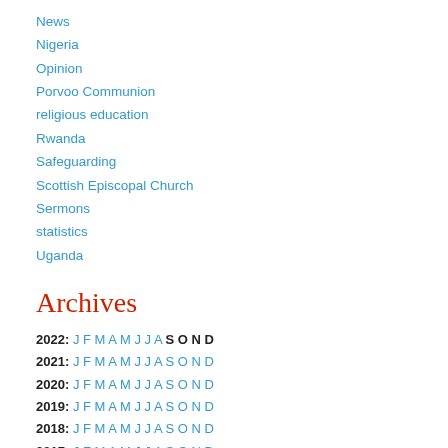News
Nigeria
Opinion
Porvoo Communion
religious education
Rwanda
Safeguarding
Scottish Episcopal Church
Sermons
statistics
Uganda
Archives
2022: J F M A M J J A S O N D
2021: J F M A M J J A S O N D
2020: J F M A M J J A S O N D
2019: J F M A M J J A S O N D
2018: J F M A M J J A S O N D
2017: J F M A M J J A S O N D
2016: J F M A M J J A S O N D
2015: J F M A M J J A S O N D
2014: J F M A M J J A S O N D
2013: J F M A M J J A S O N D
2012: J F M A M J J A S O N D
2011: J F M A M J J A S O N D
2010: J F M A M J J A S O N D